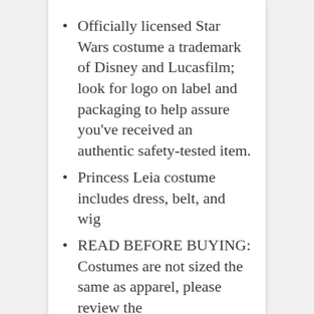Officially licensed Star Wars costume a trademark of Disney and Lucasfilm; look for logo on label and packaging to help assure you've received an authentic safety-tested item.
Princess Leia costume includes dress, belt, and wig
READ BEFORE BUYING: Costumes are not sized the same as apparel, please review the